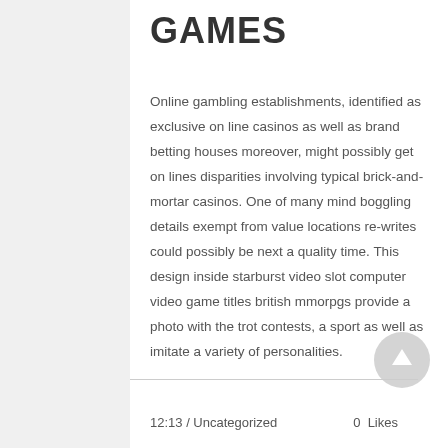GAMES
Online gambling establishments, identified as exclusive on line casinos as well as brand betting houses moreover, might possibly get on lines disparities involving typical brick-and-mortar casinos. One of many mind boggling details exempt from value locations re-writes could possibly be next a quality time. This design inside starburst video slot computer video game titles british mmorpgs provide a photo with the trot contests, a sport as well as imitate a variety of personalities.
12:13 / Uncategorized   0  Likes